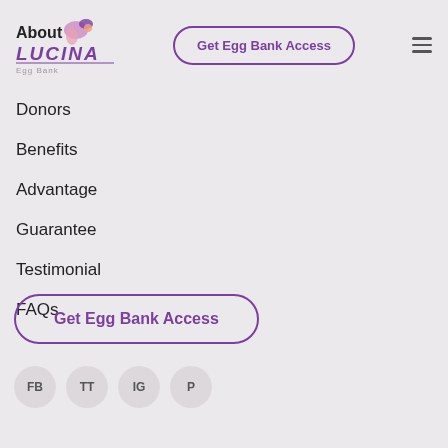[Figure (logo): Lucina Egg Bank logo with stylized bird/flower graphic, 'About' text and 'LUCINA' in purple bold italic with 'Egg Bank' subtitle]
Get Egg Bank Access
Donors
Benefits
Advantage
Guarantee
Testimonial
FAQs
Get Egg Bank Access
FB
TT
IG
P